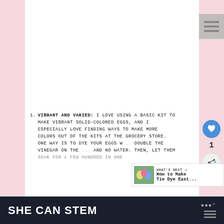[Figure (photo): Pink and red dyed Easter eggs in a gray cardboard egg carton on a light wooden surface]
VIBRANT AND VARIED: I LOVE USING A BASIC KIT TO MAKE VIBRANT SOLID-COLORED EGGS, AND I ESPECIALLY LOVE FINDING WAYS TO MAKE MORE COLORS OUT OF THE KITS AT THE GROCERY STORE. ONE WAY IS TO DYE YOUR EGGS W... DOUBLE THE VINEGAR ON THE ... AND NO WATER. THEN, LET THEM SOAK FOR A FEW HUNDRED IN ONE...
WHAT'S NEXT → How to Make Tie Dye East...
SHE CAN STEM